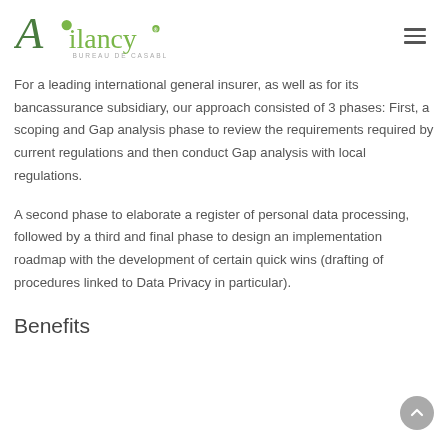Ailancy BUREAU DE CASABLANCA
For a leading international general insurer, as well as for its bancassurance subsidiary, our approach consisted of 3 phases: First, a scoping and Gap analysis phase to review the requirements required by current regulations and then conduct Gap analysis with local regulations.
A second phase to elaborate a register of personal data processing, followed by a third and final phase to design an implementation roadmap with the development of certain quick wins (drafting of procedures linked to Data Privacy in particular).
Benefits